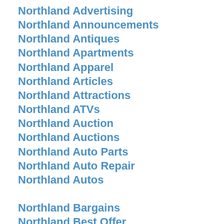Northland Advertising
Northland Announcements
Northland Antiques
Northland Apartments
Northland Apparel
Northland Articles
Northland Attractions
Northland ATVs
Northland Auction
Northland Auctions
Northland Auto Parts
Northland Auto Repair
Northland Autos
Northland Bargains
Northland Best Offer
Northland Businesses
Northland Business Directory